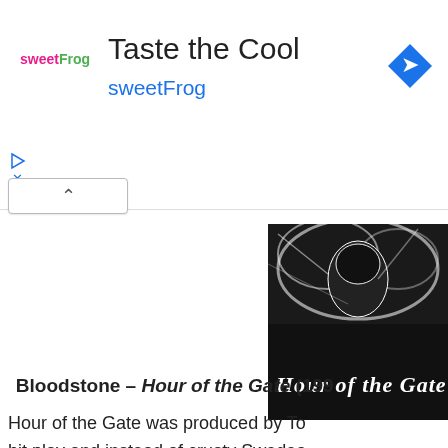[Figure (screenshot): SweetFrog advertisement banner with logo, 'Taste the Cool' title, 'sweetFrog' subtitle in blue, and a blue navigation arrow icon on the right]
[Figure (photo): Black and white metal album cover image showing 'Hour of the Gate' text in gothic font against a dark graphic background]
Bloodstone – Hour of the Gate (199
Hour of the Gate was produced by To hit play and instead of crusty Swedea down into Necrophobic riffing. Then G from Megadeth. How many salads we